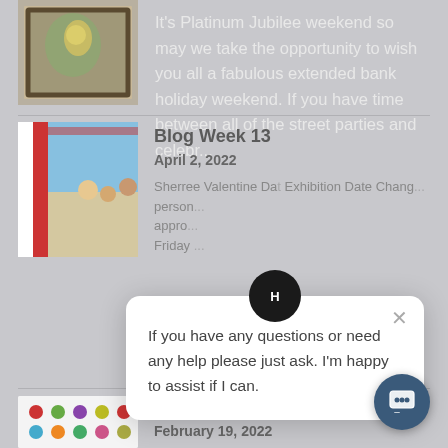It's Platinum Jubilee weekend so may we take the opportunity to wish you all a fabulous extended bank holiday weekend. If you have time between all of the street parties and celebr...
[Figure (illustration): Painting of a figure, framed artwork thumbnail]
Blog Week 13
April 2, 2022
[Figure (illustration): Painting showing people with flags and decorations]
Sherree Valentine Day Exhibition Date Chang... person... appro... Friday ...
[Figure (screenshot): Chat popup overlay with logo, close button, and text: If you have any questions or need any help please just ask. I'm happy to assist if I can.]
Blog Week 7
February 19, 2022
[Figure (illustration): Colorful dots artwork thumbnail]